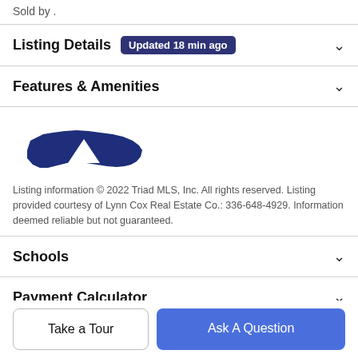Sold by .
Listing Details  Updated 18 min ago
Features & Amenities
[Figure (logo): North Carolina / Triad MLS logo — blue silhouette of North Carolina state with a downward-pointing triangle in white]
Listing information © 2022 Triad MLS, Inc. All rights reserved. Listing provided courtesy of Lynn Cox Real Estate Co.: 336-648-4929. Information deemed reliable but not guaranteed.
Schools
Payment Calculator
Take a Tour
Ask A Question